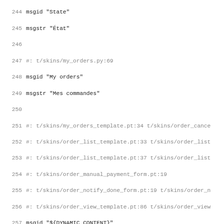Code/PO file content showing localization strings, lines 244-275
244 msgid "State"
245 msgstr "État"
246
247 #: t/skins/my_orders.py:69
248 msgid "My orders"
249 msgstr "Mes commandes"
250
251 #: t/skins/my_orders_template.pt:34 t/skins/order_cance
252 #: t/skins/order_list_template.pt:33 t/skins/order_list
253 #: t/skins/order_list_template.pt:37 t/skins/order_list
254 #: t/skins/order_manual_payment_form.pt:19
255 #: t/skins/order_notify_done_form.pt:19 t/skins/order_n
256 #: t/skins/order_view_template.pt:86 t/skins/order_view
257 msgid "${DYNAMIC_CONTENT}"
258 msgstr ""
259
260 #: t/skins/order_cancel_form.pt:11
261 msgid "Cancel order \"${order_reference}\""
262 msgstr "Annuler la commande « ${order_reference} »"
263
264 #: t/skins/order_cancel_form.pt:12
265 msgid "Cancel the order and relist reserved copies."
266 msgstr "Annuler la commande et remettre en vente les ex
267
268 #: t/skins/order_cancel_form.pt:18 t/skins/order_manual
269 #: t/skins/order_notify_done_form.pt:18 t/skins/order_n
270 msgid "Current state:"
271 msgstr "État actuel :"
272
273 #. Default: "Subject"
274 #: t/skins/order_cancel_form.pt:23 t/skins/order_notify
275 msgid "mail_subject"